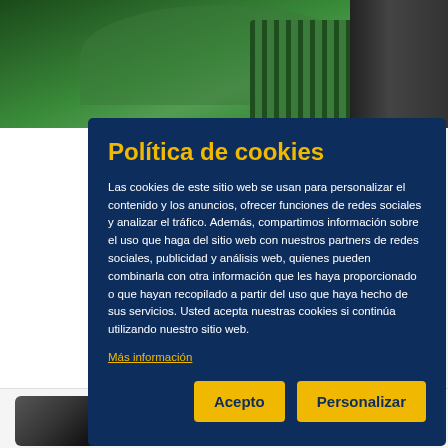[Figure (screenshot): Background showing green industrial water pump at top, partial product listing cards on left side, and another pump image at bottom. Cookie consent modal overlays the content.]
Política de cookies
Las cookies de este sitio web se usan para personalizar el contenido y los anuncios, ofrecer funciones de redes sociales y analizar el tráfico. Además, compartimos información sobre el uso que haga del sitio web con nuestros partners de redes sociales, publicidad y análisis web, quienes pueden combinarla con otra información que les haya proporcionado o que hayan recopilado a partir del uso que haya hecho de sus servicios. Usted acepta nuestras cookies si continúa utilizando nuestro sitio web.
Más información
Acepto
Personalizar